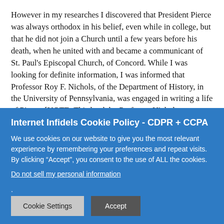However in my researches I discovered that President Pierce was always orthodox in his belief, even while in college, but that he did not join a Church until a few years before his death, when he united with and became a communicant of St. Paul's Episcopal Church, of Concord. While I was looking for definite information, I was informed that Professor Roy F. Nichols, of the Department of History, in the University of Pennsylvania, was engaged in writing a life of Pierce. [NOTE: This book by Professor Nichols was published in 1932.] I applied to him for information, and he responded in a private letter, as follows:
“Pierce expressed himself in writing at least twice on the subject of religion, once in a manuscript fragment written in later life
Internet Infidels Cookie Policy - CDPR + CCPA
We use cookies on our website to give you the most relevant experience by remembering your preferences and repeat visits. By clicking “Accept”, you consent to the use of ALL the cookies.
Do not sell my personal information.
Cookie Settings   Accept